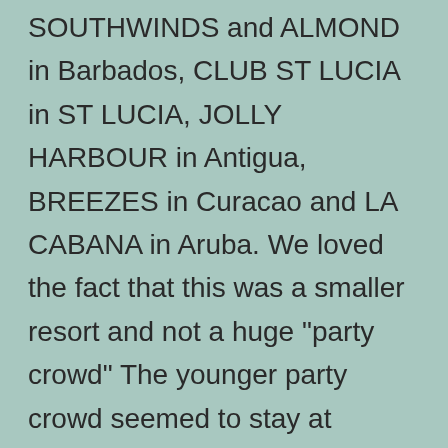SOUTHWINDS and ALMOND in Barbados, CLUB ST LUCIA in ST LUCIA, JOLLY HARBOUR in Antigua, BREEZES in Curacao and LA CABANA in Aruba. We loved the fact that this was a smaller resort and not a huge "party crowd" The younger party crowd seemed to stay at SANDALS Montego Bay. Our arrival was handled very efficiently. Customs and immigration went quite quickly and once we had our luggage we were met by a SANDALS rep who organized our luggage and transport to the resort. There is a SANDALS lounge at the airport where you can get a beer or fruit juice while you wait. The